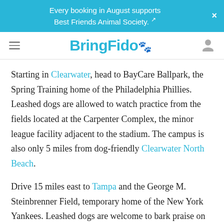Every booking in August supports Best Friends Animal Society.
BringFido
Starting in Clearwater, head to BayCare Ballpark, the Spring Training home of the Philadelphia Phillies. Leashed dogs are allowed to watch practice from the fields located at the Carpenter Complex, the minor league facility adjacent to the stadium. The campus is also only 5 miles from dog-friendly Clearwater North Beach.
Drive 15 miles east to Tampa and the George M. Steinbrenner Field, temporary home of the New York Yankees. Leashed dogs are welcome to bark praise on the practice fields located at the rear of the stadium,